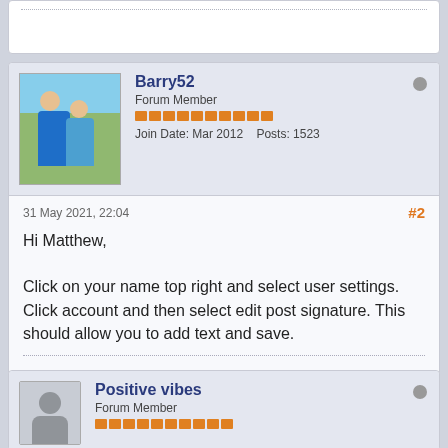(partial previous post)
Barry52
Forum Member
Join Date: Mar 2012    Posts: 1523
31 May 2021, 22:04
#2

Hi Matthew,

Click on your name top right and select user settings. Click account and then select edit post signature. This should allow you to add text and save.

I'm going to do this even if it kills me!
Positive vibes
Forum Member